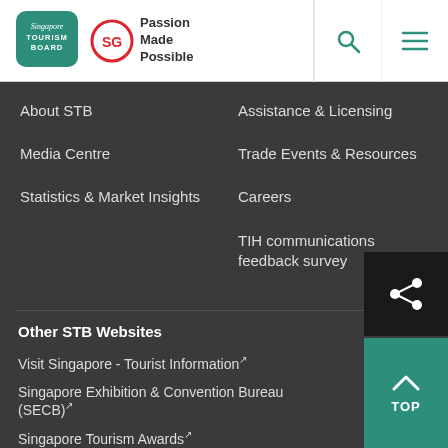[Figure (logo): Singapore Tourism Board logo — teal rounded rectangle with STB text]
[Figure (logo): SG logo circle with red border and letters SG, with text 'Passion Made Possible']
About STB
Assistance & Licensing
Media Centre
Trade Events & Resources
Statistics & Market Insights
Careers
TIH communications feedback survey
Other STB Websites
Visit Singapore - Tourist Information ↗
Singapore Exhibition & Convention Bureau (SECB) ↗
Singapore Tourism Awards ↗
Singapore Tourism Information and Services Hub (TIH) ↗